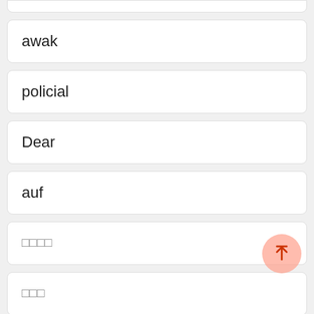awak
policial
Dear
auf
□□□□
□□□
Tonight